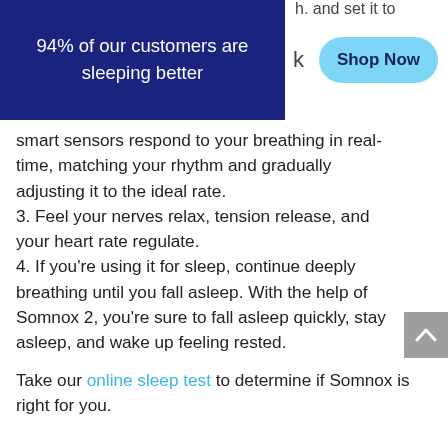94% of our customers are sleeping better
smart sensors respond to your breathing in real-time, matching your rhythm and gradually adjusting it to the ideal rate. 3. Feel your nerves relax, tension release, and your heart rate regulate. 4. If you’re using it for sleep, continue deeply breathing until you fall asleep. With the help of Somnox 2, you’re sure to fall asleep quickly, stay asleep, and wake up feeling rested.
Take our online sleep test to determine if Somnox is right for you.